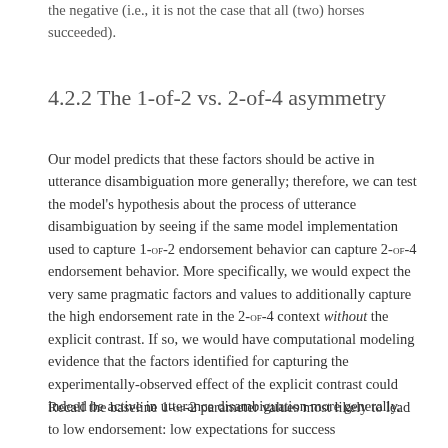the negative (i.e., it is not the case that all (two) horses succeeded).
4.2.2 The 1-of-2 vs. 2-of-4 asymmetry
Our model predicts that these factors should be active in utterance disambiguation more generally; therefore, we can test the model's hypothesis about the process of utterance disambiguation by seeing if the same model implementation used to capture 1-OF-2 endorsement behavior can capture 2-OF-4 endorsement behavior. More specifically, we would expect the very same pragmatic factors and values to additionally capture the high endorsement rate in the 2-OF-4 context without the explicit contrast. If so, we would have computational modeling evidence that the factors identified for capturing the experimentally-observed effect of the explicit contrast could indeed be active in utterance disambiguation more generally.
Recall the baseline 1-OF-2 parameter values most likely to lead to low endorsement: low expectations for success